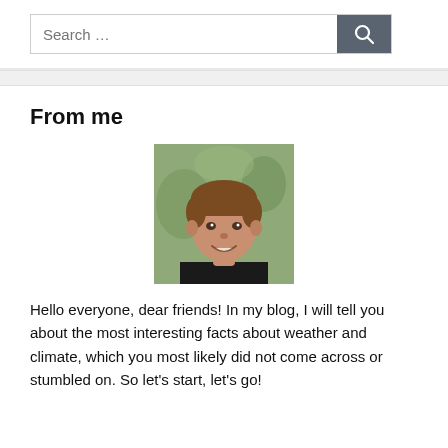[Figure (screenshot): Search bar with text input placeholder 'Search ...' and a dark search button with magnifying glass icon]
From me
[Figure (photo): Headshot photo of a smiling young man with brown hair, wearing a dark shirt, with a blurred outdoor background]
Hello everyone, dear friends! In my blog, I will tell you about the most interesting facts about weather and climate, which you most likely did not come across or stumbled on. So let's start, let's go!